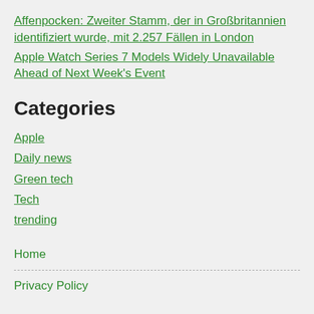Affenpocken: Zweiter Stamm, der in Großbritannien identifiziert wurde, mit 2.257 Fällen in London
Apple Watch Series 7 Models Widely Unavailable Ahead of Next Week's Event
Categories
Apple
Daily news
Green tech
Tech
trending
Home
Privacy Policy